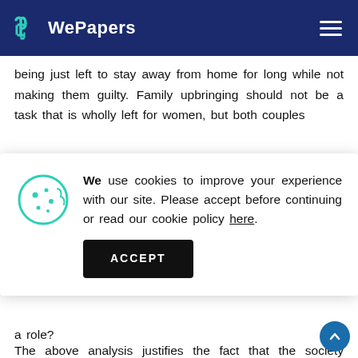WePapers
being just left to stay away from home for long while not making them guilty. Family upbringing should not be a task that is wholly left for women, but both couples
[Figure (screenshot): Cookie consent modal with cookie icon, text about using cookies to improve experience, a link 'here', and an ACCEPT button]
a role?
The above analysis justifies the fact that the society demands certain things from women which it does not demand from men. Certainly, this suggests that